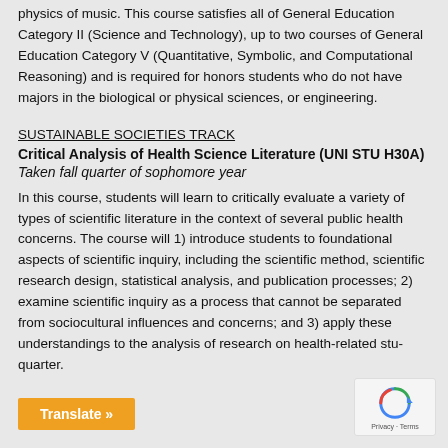physics of music. This course satisfies all of General Education Category II (Science and Technology), up to two courses of General Education Category V (Quantitative, Symbolic, and Computational Reasoning) and is required for honors students who do not have majors in the biological or physical sciences, or engineering.
SUSTAINABLE SOCIETIES TRACK
Critical Analysis of Health Science Literature (UNI STU H30A)
Taken fall quarter of sophomore year
In this course, students will learn to critically evaluate a variety of types of scientific literature in the context of several public health concerns. The course will 1) introduce students to foundational aspects of scientific inquiry, including the scientific method, scientific research design, statistical analysis, and publication processes; 2) examine scientific inquiry as a process that cannot be separated from sociocultural influences and concerns; and 3) apply these understandings to the analysis of research on health-related stu... quarter.